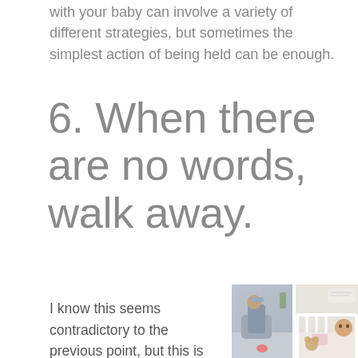with your baby can involve a variety of different strategies, but sometimes the simplest action of being held can be enough.
6. When there are no words, walk away.
I know this seems contradictory to the previous point, but this is to give you the option to decide
[Figure (photo): Two photos side by side: left shows a stressed man sitting with head in hand; right shows a baby peeking over the rail of a white crib.]